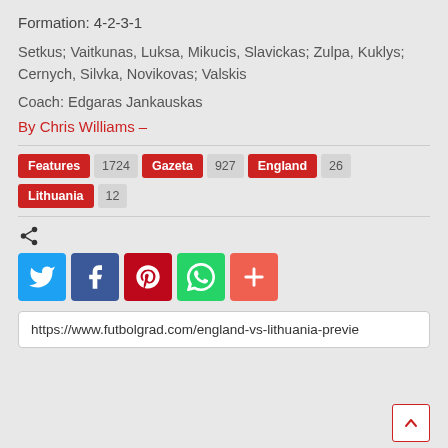Formation: 4-2-3-1
Setkus; Vaitkunas, Luksa, Mikucis, Slavickas; Zulpa, Kuklys; Cernych, Silvka, Novikovas; Valskis
Coach: Edgaras Jankauskas
By Chris Williams –
Features 1724   Gazeta 927   England 26   Lithuania 12
[Figure (infographic): Social share icons: Twitter (blue), Facebook (dark blue), Pinterest (red), WhatsApp (green), More (orange-red)]
https://www.futbolgrad.com/england-vs-lithuania-previe